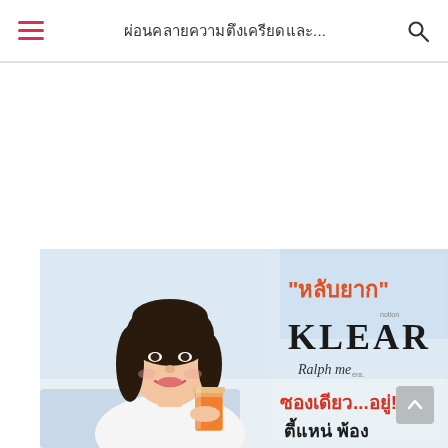ผ่อนคลายความตึงเครียดและ...
[Figure (photo): A Thai woman smiling and holding an orange drink glass, next to promotional text for 'KLEAR Ralph me' supplement product in Thai language saying 'หลับยาก' (hard to sleep) and 'ซองเดียว...อยู่!' (one sachet... lasts!), with the brand name KLEAR prominently displayed.]